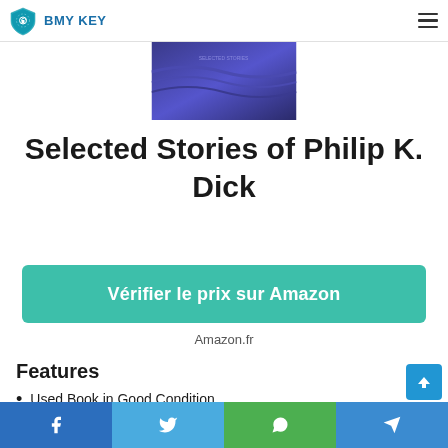BMY KEY
[Figure (photo): Book cover for Selected Stories of Philip K. Dick — purple/blue gradient cover]
Selected Stories of Philip K. Dick
Vérifier le prix sur Amazon
Amazon.fr
Features
Used Book in Good Condition